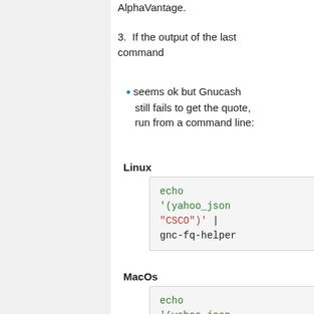AlphaVantage.
3. If the output of the last command
• seems ok but Gnucash still fails to get the quote, run from a command line:
Linux
echo '(yahoo_json "CSCO")' | gnc-fq-helper
MacOs
echo '(yahoo_json "CSCO")' | /Applications/Gnu... fq-helper